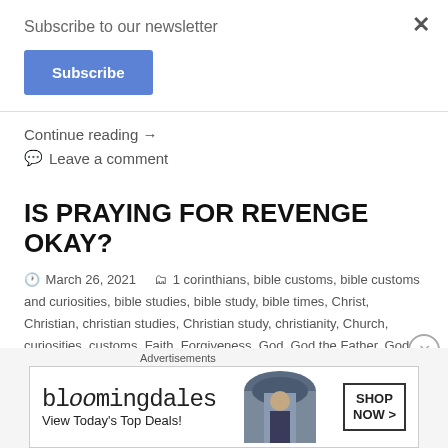Subscribe to our newsletter
Subscribe
Continue reading →
Leave a comment
IS PRAYING FOR REVENGE OKAY?
March 26, 2021   1 corinthians, bible customs, bible customs and curiosities, bible studies, bible study, bible times, Christ, Christian, christian studies, Christian study, christianity, Church, curiosities, customs, Faith, Forgiveness, God, God the Father, God
[Figure (screenshot): Bloomingdales advertisement: bloomingdales logo, woman with hat image, 'View Today's Top Deals!', SHOP NOW > button]